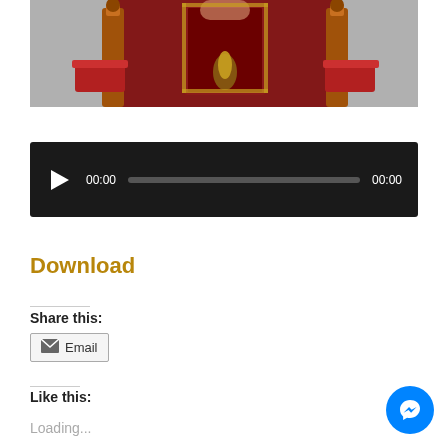[Figure (photo): Photo of an ornate red throne or ceremonial chair with gold decorations and patterned fabric backdrop, cropped at the top]
[Figure (screenshot): Audio player UI with black background, play button, time display showing 00:00, progress bar, and end time 00:00]
Download
Share this:
Email
Like this:
Loading...